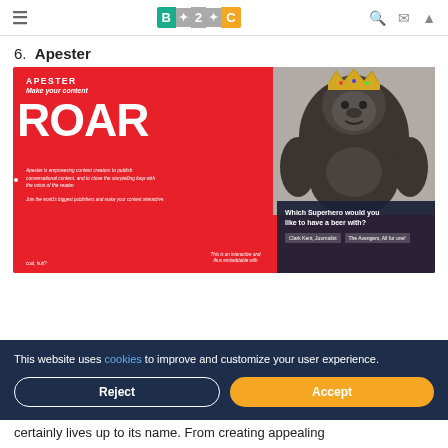B2C (logo) with hamburger menu and search/mail/up icons
6. Apester
[Figure (screenshot): Apester website screenshot with red background showing 'Make your content ROAR' tagline, a gorilla with crown, a quiz overlay asking 'Which Superhero would you like to have a beer with?' with options, and a cookie consent overlay with Reject and Accept buttons.]
certainly lives up to its name. From creating appealing